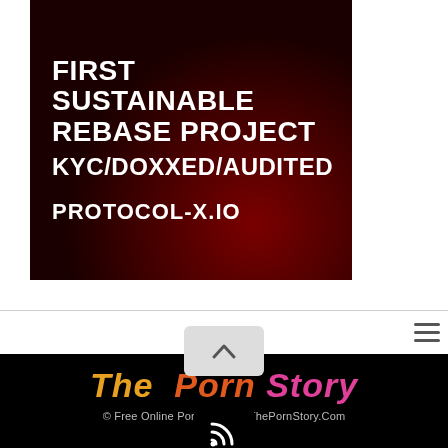[Figure (infographic): Dark red advertisement banner with white bold text reading: FIRST SUSTAINABLE REBASE PROJECT KYC/DOXXED/AUDITED PROTOCOL-X.IO]
[Figure (illustration): Hamburger menu icon (three horizontal lines) in the top-right navigation bar]
[Figure (illustration): Grey scroll-to-top button with upward chevron arrow]
The Porn Story
© Free Online Porn Story @ ThePornStory.Com
[Figure (illustration): RSS feed icon at the bottom of the footer]